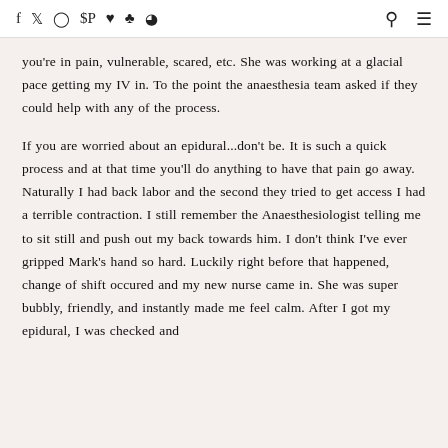social media icons and navigation
you're in pain, vulnerable, scared, etc. She was working at a glacial pace getting my IV in. To the point the anaesthesia team asked if they could help with any of the process.
If you are worried about an epidural...don't be. It is such a quick process and at that time you'll do anything to have that pain go away. Naturally I had back labor and the second they tried to get access I had a terrible contraction. I still remember the Anaesthesiologist telling me to sit still and push out my back towards him. I don't think I've ever gripped Mark's hand so hard. Luckily right before that happened, change of shift occured and my new nurse came in. She was super bubbly, friendly, and instantly made me feel calm. After I got my epidural, I was checked and